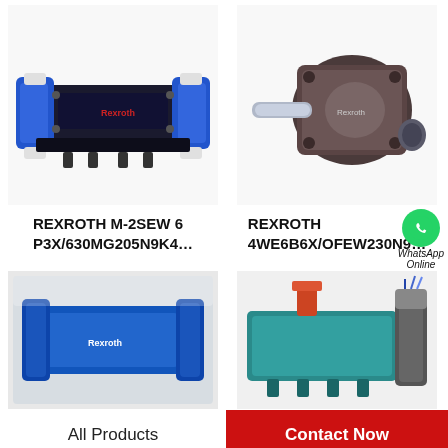[Figure (photo): Rexroth M-2SEW 6 P3X directional valve, blue and black solenoid valve on white background]
[Figure (photo): Rexroth 4WE6B6X hydraulic motor/pump component, dark brown metallic body with shaft]
REXROTH M-2SEW 6 P3X/630MG205N9K4…
REXROTH 4WE6B6X/OFEW230N9…
[Figure (photo): Blue Rexroth hydraulic valve wrapped in plastic packaging]
[Figure (photo): Teal/green Rexroth hydraulic directional control valve with solenoids]
All Products
Contact Now